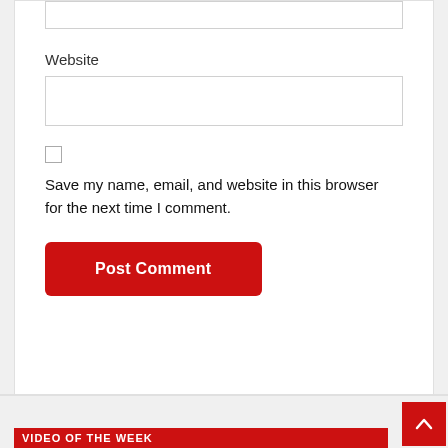[Figure (screenshot): Top of a comment form input box (partially visible at top of card)]
Website
[Figure (screenshot): Website text input field (empty)]
[Figure (screenshot): Unchecked checkbox]
Save my name, email, and website in this browser for the next time I comment.
[Figure (screenshot): Red Post Comment button]
VIDEO OF THE WEEK